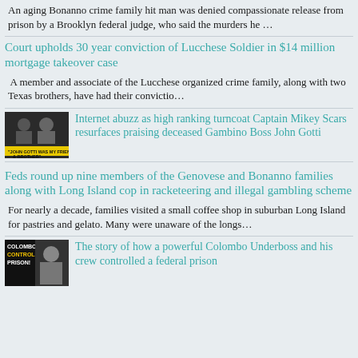An aging Bonanno crime family hit man was denied compassionate release from prison by a Brooklyn federal judge, who said the murders he …
Court upholds 30 year conviction of Lucchese Soldier in $14 million mortgage takeover case
A member and associate of the Lucchese organized crime family, along with two Texas brothers, have had their convictio…
[Figure (photo): Black and white photo with yellow label reading 'John Gotti was my friend & brother']
Internet abuzz as high ranking turncoat Captain Mikey Scars resurfaces praising deceased Gambino Boss John Gotti
Feds round up nine members of the Genovese and Bonanno families along with Long Island cop in racketeering and illegal gambling scheme
For nearly a decade, families visited a small coffee shop in suburban Long Island for pastries and gelato. Many were unaware of the longs…
[Figure (photo): Book cover or graphic reading 'Colombos Control Prison' with photo of man]
The story of how a powerful Colombo Underboss and his crew controlled a federal prison